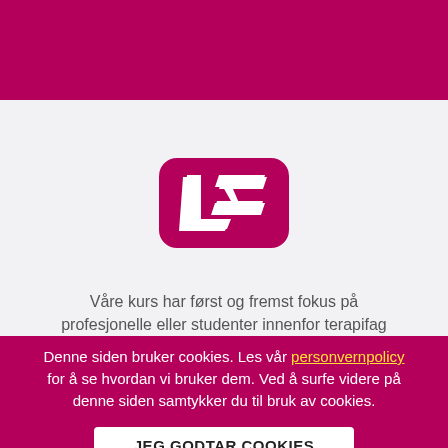[Figure (logo): LS logo: white stylized 'LS' letters on a magenta/pink rounded rectangle background]
Våre kurs har først og fremst fokus på profesjonelle eller studenter innenfor terapifag
Denne siden bruker cookies. Les vår personvernpolicy for å se hvordan vi bruker dem. Ved å surfe videre på denne siden samtykker du til bruk av cookies.
JEG GODTAR COOKIES